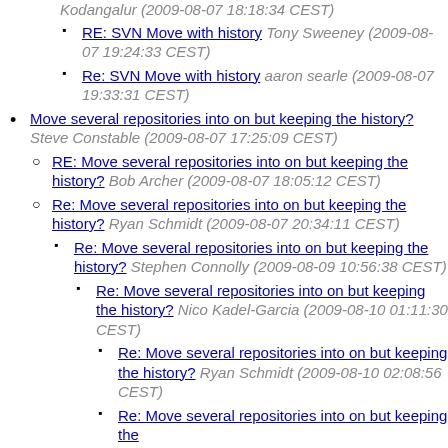RE: SVN Move with history Tony Sweeney (2009-08-07 19:24:33 CEST)
Re: SVN Move with history aaron searle (2009-08-07 19:33:31 CEST)
Move several repositories into on but keeping the history? Steve Constable (2009-08-07 17:25:09 CEST)
RE: Move several repositories into on but keeping the history? Bob Archer (2009-08-07 18:05:12 CEST)
Re: Move several repositories into on but keeping the history? Ryan Schmidt (2009-08-07 20:34:11 CEST)
Re: Move several repositories into on but keeping the history? Stephen Connolly (2009-08-09 10:56:38 CEST)
Re: Move several repositories into on but keeping the history? Nico Kadel-Garcia (2009-08-10 01:11:30 CEST)
Re: Move several repositories into on but keeping the history? Ryan Schmidt (2009-08-10 02:08:56 CEST)
Re: Move several repositories into on but keeping the history?